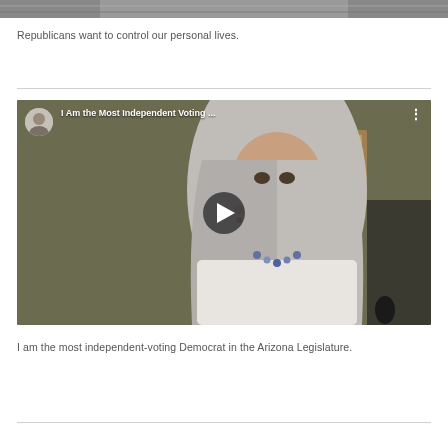[Figure (photo): Top portion of an image, appears to be a person in a striped shirt, partially cropped]
Republicans want to control our personal lives.
[Figure (screenshot): YouTube video thumbnail showing a woman with long gray hair and a beaded necklace. Video title reads 'I Am the Most Independent Voting ...' with a YouTube play button overlay and a circular avatar of a woman with light hair in the top left corner.]
I am the most independent-voting Democrat in the Arizona Legislature.